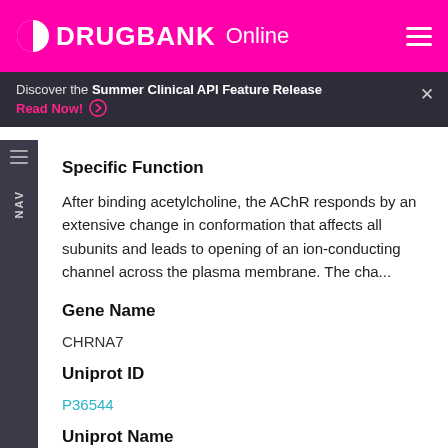DRUGBANK Online
Discover the Summer Clinical API Feature Release
Read Now!
Specific Function
After binding acetylcholine, the AChR responds by an extensive change in conformation that affects all subunits and leads to opening of an ion-conducting channel across the plasma membrane. The cha...
Gene Name
CHRNA7
Uniprot ID
P36544
Uniprot Name